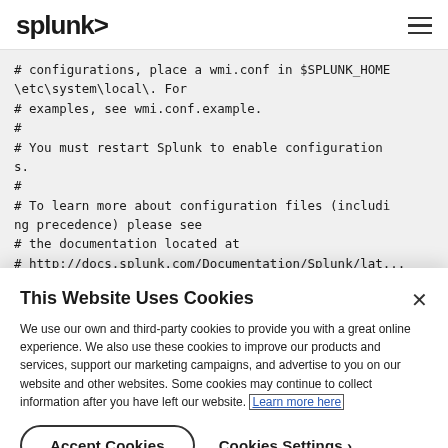splunk> [hamburger menu]
# configurations, place a wmi.conf in $SPLUNK_HOME\etc\system\local\. For
# examples, see wmi.conf.example.
#
# You must restart Splunk to enable configurations.
#
# To learn more about configuration files (including precedence) please see
# the documentation located at
# http://docs.splunk.com/Documentation/Splunk/lat...
This Website Uses Cookies
We use our own and third-party cookies to provide you with a great online experience. We also use these cookies to improve our products and services, support our marketing campaigns, and advertise to you on our website and other websites. Some cookies may continue to collect information after you have left our website. Learn more here
Accept Cookies   Cookies Settings ›